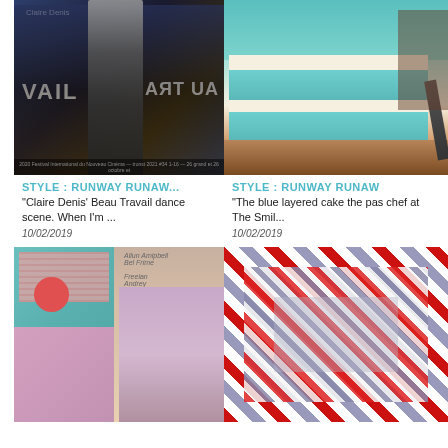[Figure (photo): Fashion runway image with model in dark outfit overlaid on film/artistic background, with text 'Claire Denis' and 'ART UA']
[Figure (photo): Blue layered cake being cut, with teal/turquoise colored layers visible]
STYLE : RUNWAY RUNAW...
STYLE : RUNWAY RUNAW
"Claire Denis' Beau Travail dance scene. When I'm ...
"The blue layered cake the pas chef at The Smil...
10/02/2019
10/02/2019
[Figure (photo): Collage with vintage-style illustration of woman, album covers (Freelan, Andrey), pink and teal abstract shapes]
[Figure (photo): Red, white and blue striped pattern forming a tunnel/corridor with a person visible inside]